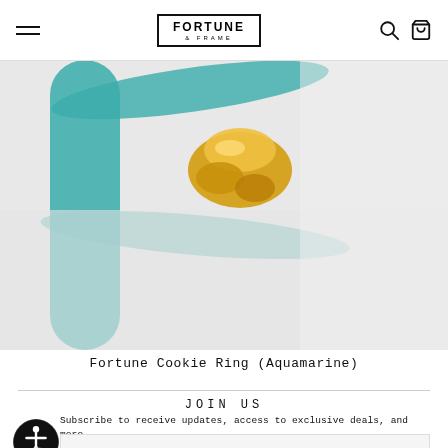Fortune & Frame — navigation header with hamburger menu, logo, search and cart icons
[Figure (photo): Close-up photo of a Fortune Cookie Ring (Aquamarine) — a gold fortune cookie shaped charm on a teal/aquamarine colored ring band, on a light gray background]
Fortune Cookie Ring (Aquamarine)
JOIN US
Subscribe to receive updates, access to exclusive deals, and more.
Enter your email →